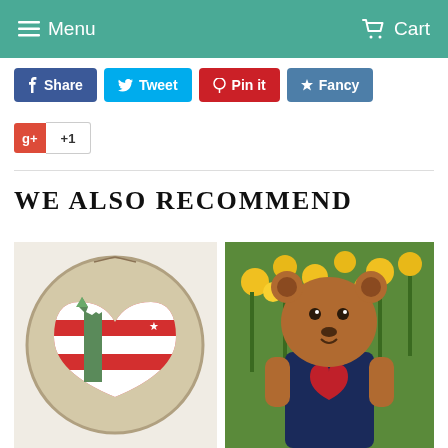Menu   Cart
Share  Tweet  Pin it  Fancy
+1
WE ALSO RECOMMEND
[Figure (photo): Circular wooden wall hanging featuring Statue of Liberty over an American flag heart design]
[Figure (photo): Wooden bear figure wearing a navy sailor outfit holding a red heart, displayed outdoors among yellow flowers]